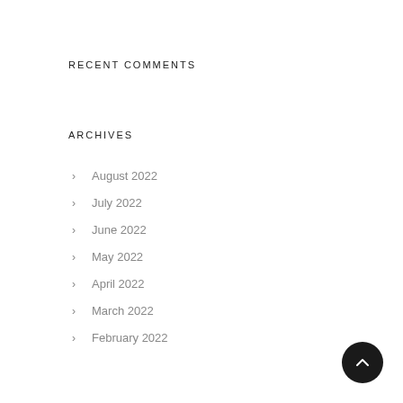RECENT COMMENTS
ARCHIVES
August 2022
July 2022
June 2022
May 2022
April 2022
March 2022
February 2022